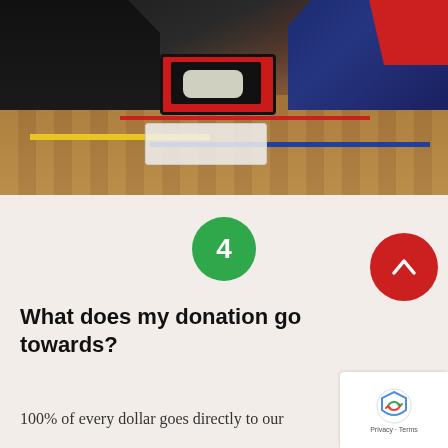[Figure (photo): People sitting on a gym floor with an open red first aid kit and white plastic medical container. Parquet wood floor with yellow and red tape lines visible.]
[Figure (infographic): Green circle with number 4 in white, indicating step 4.]
What does my donation go towards?
100% of every dollar goes directly to our